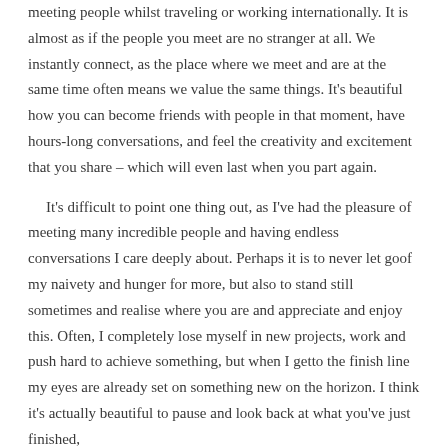meeting people whilst traveling or working internationally. It is almost as if the people you meet are no stranger at all. We instantly connect, as the place where we meet and are at the same time often means we value the same things. It's beautiful how you can become friends with people in that moment, have hours-long conversations, and feel the creativity and excitement that you share – which will even last when you part again.
It's difficult to point one thing out, as I've had the pleasure of meeting many incredible people and having endless conversations I care deeply about. Perhaps it is to never let goof my naivety and hunger for more, but also to stand still sometimes and realise where you are and appreciate and enjoy this. Often, I completely lose myself in new projects, work and push hard to achieve something, but when I getto the finish line my eyes are already set on something new on the horizon. I think it's actually beautiful to pause and look back at what you've just finished,